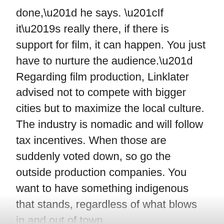done,” he says. “If it’s really there, if there is support for film, it can happen. You just have to nurture the audience.” Regarding film production, Linklater advised not to compete with bigger cities but to maximize the local culture. The industry is nomadic and will follow tax incentives. When those are suddenly voted down, so go the outside production companies. You want to have something indigenous that stands, regardless of what blows in and out of town.
And Hart/Lunsford’s role in this? Despite a recent shift to the distribution of known quantities, Hart says, “We’d love to do a whole shooting match here, but you have to be selective. You have to find the right one. It’s